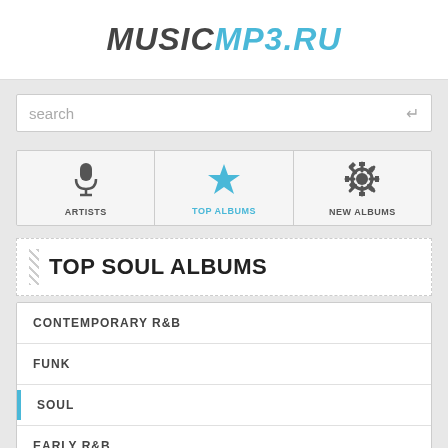MUSICMP3.RU
search
[Figure (infographic): Navigation tabs with icons: ARTISTS (microphone icon), TOP ALBUMS (star icon, active/blue), NEW ALBUMS (snowflake/gear icon)]
TOP SOUL ALBUMS
CONTEMPORARY R&B
FUNK
SOUL
EARLY R&B